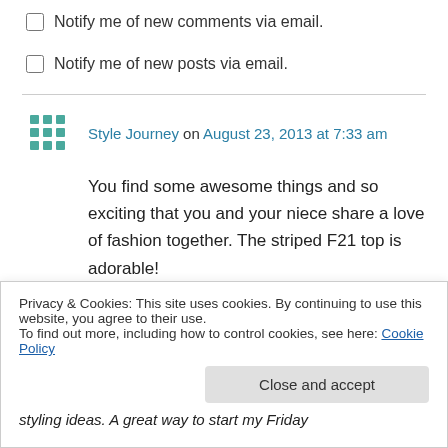Notify me of new comments via email.
Notify me of new posts via email.
Style Journey on August 23, 2013 at 7:33 am
You find some awesome things and so exciting that you and your niece share a love of fashion together. The striped F21 top is adorable!
↳ Reply
Privacy & Cookies: This site uses cookies. By continuing to use this website, you agree to their use.
To find out more, including how to control cookies, see here: Cookie Policy
Close and accept
styling ideas. A great way to start my Friday